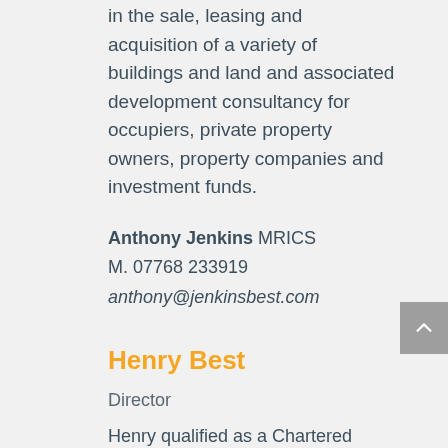in the sale, leasing and acquisition of a variety of buildings and land and associated development consultancy for occupiers, private property owners, property companies and investment funds.
Anthony Jenkins MRICS
M. 07768 233919
anthony@jenkinsbest.com
Henry Best
Director
Henry qualified as a Chartered Surveyor 2003 and has over 15 years experience in the South Wales and London markets. Previously he has worked for King Sturge in